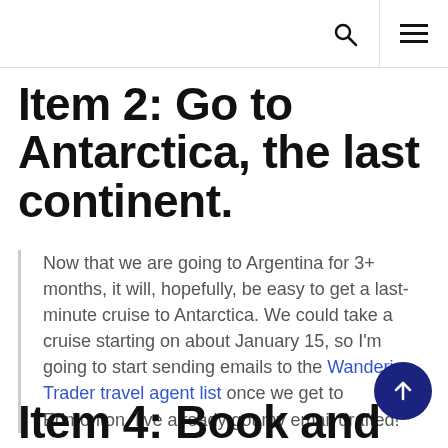[search icon] [menu icon]
Item 2: Go to Antarctica, the last continent.
Now that we are going to Argentina for 3+ months, it will, hopefully, be easy to get a last-minute cruise to Antarctica. We could take a cruise starting on about January 15, so I'm going to start sending emails to the Wandering Trader travel agent list once we get to Edmonton. I've already got my email drafted!
Item 4: Book and shoot at